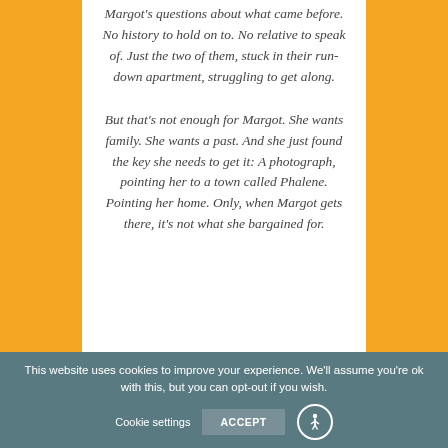Margot's questions about what came before. No history to hold on to. No relative to speak of. Just the two of them, stuck in their run-down apartment, struggling to get along.
But that's not enough for Margot. She wants family. She wants a past. And she just found the key she needs to get it: A photograph, pointing her to a town called Phalene. Pointing her home. Only, when Margot gets there, it's not what she bargained for.
This website uses cookies to improve your experience. We'll assume you're ok with this, but you can opt-out if you wish.
Cookie settings
ACCEPT